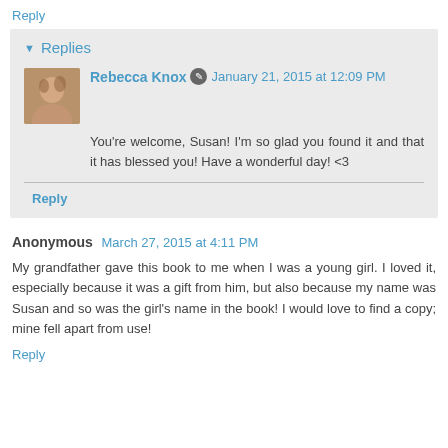Reply
▾ Replies
Rebecca Knox  ✎  January 21, 2015 at 12:09 PM
You're welcome, Susan! I'm so glad you found it and that it has blessed you! Have a wonderful day! <3
Reply
Anonymous  March 27, 2015 at 4:11 PM
My grandfather gave this book to me when I was a young girl. I loved it, especially because it was a gift from him, but also because my name was Susan and so was the girl's name in the book! I would love to find a copy; mine fell apart from use!
Reply